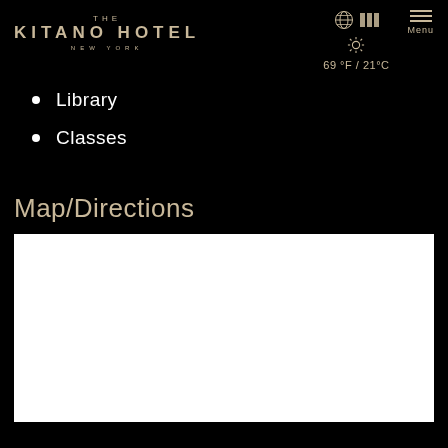THE KITANO HOTEL NEW YORK
Library
Classes
Map/Directions
[Figure (map): Embedded map placeholder showing white area for map/directions to The Kitano Hotel New York]